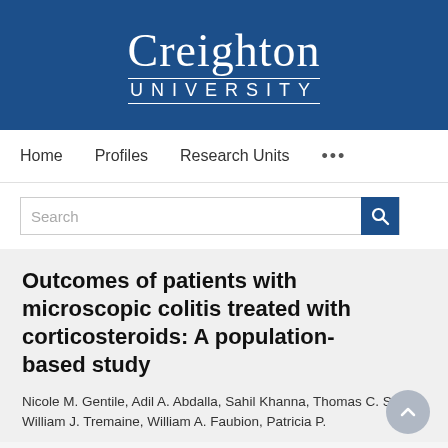[Figure (logo): Creighton University logo on blue background with white text]
Home   Profiles   Research Units   ...
Search
Outcomes of patients with microscopic colitis treated with corticosteroids: A population-based study
Nicole M. Gentile, Adil A. Abdalla, Sahil Khanna, Thomas C. Smyrk, William J. Tremaine, William A. Faubion, Patricia P.